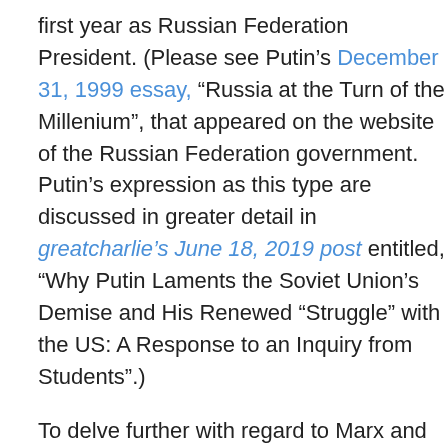first year as Russian Federation President. (Please see Putin’s December 31, 1999 essay, “Russia at the Turn of the Millenium”, that appeared on the website of the Russian Federation government. Putin’s expression as this type are discussed in greater detail in greatcharlie’s June 18, 2019 post entitled, “Why Putin Laments the Soviet Union’s Demise and His Renewed “Struggle” with the US: A Response to an Inquiry from Students”.)
To delve further with regard to Marx and war causation, in later years, a school of advocates, quite different from him and his Orthodox followers, even to the extent that they did not regard themselves as Communists, furthered Marxian theory, with what was dubbed neo-Marxian theory. They theorized that neither stupidity nor chauvinism or individual psychological quirks or wrong-